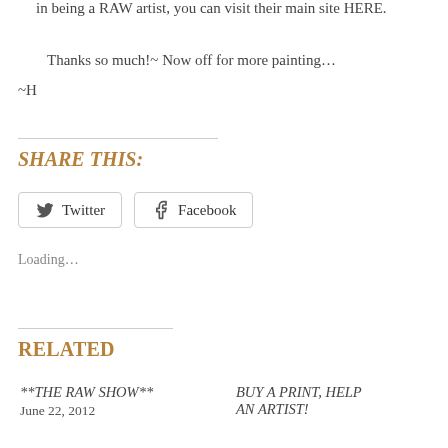in being a RAW artist, you can visit their main site HERE.
Thanks so much!~ Now off for more painting…
~H
SHARE THIS:
Twitter  Facebook
Loading...
RELATED
**THE RAW SHOW**
June 22, 2012
BUY A PRINT, HELP AN ARTIST!